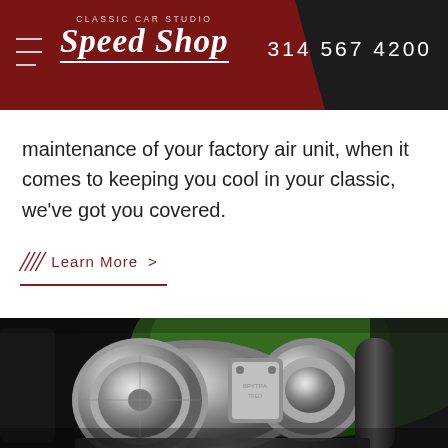Classic Car Studio Speed Shop | 314 567 4200
maintenance of your factory air unit, when it comes to keeping you cool in your classic, we've got you covered.
Learn More
[Figure (photo): Close-up photograph of polished chrome/aluminum supercharger or compressor pulley assembly with belt, against a green engine bay background]